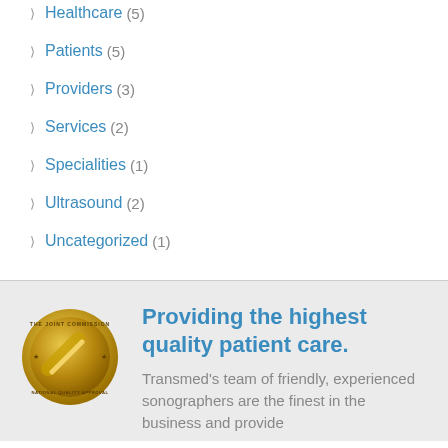Healthcare (5)
Patients (5)
Providers (3)
Services (2)
Specialities (1)
Ultrasound (2)
Uncategorized (1)
[Figure (logo): The Joint Commission National Quality Approval gold seal]
Providing the highest quality patient care.
Transmed's team of friendly, experienced sonographers are the finest in the business and provide